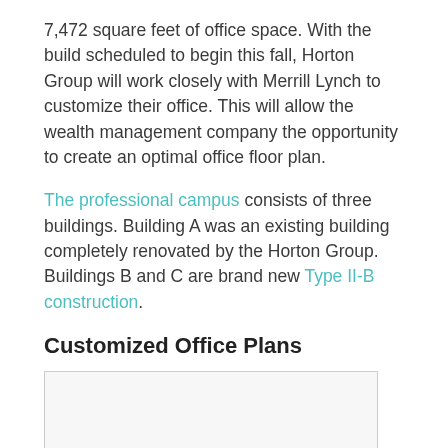7,472 square feet of office space. With the build scheduled to begin this fall, Horton Group will work closely with Merrill Lynch to customize their office. This will allow the wealth management company the opportunity to create an optimal office floor plan.
The professional campus consists of three buildings. Building A was an existing building completely renovated by the Horton Group. Buildings B and C are brand new Type II-B construction.
Customized Office Plans
[Figure (other): Partial image box visible at bottom of page, appears to be a floor plan or architectural image]